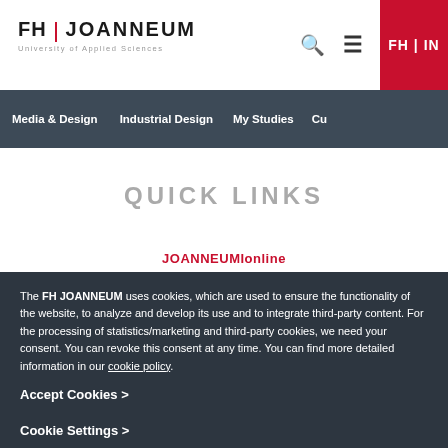FH | JOANNEUM University of Applied Sciences — FH | IN
Media & Design | Industrial Design | My Studies | Cu...
QUICK LINKS
JOANNEUMIonline
The FH JOANNEUM uses cookies, which are used to ensure the functionality of the website, to analyze and develop its use and to integrate third-party content. For the processing of statistics/marketing and third-party cookies, we need your consent. You can revoke this consent at any time. You can find more detailed information in our cookie policy.
Accept Cookies >
Cookie Settings >